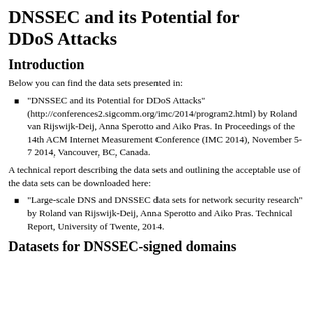DNSSEC and its Potential for DDoS Attacks
Introduction
Below you can find the data sets presented in:
"DNSSEC and its Potential for DDoS Attacks" (http://conferences2.sigcomm.org/imc/2014/program2.html) by Roland van Rijswijk-Deij, Anna Sperotto and Aiko Pras. In Proceedings of the 14th ACM Internet Measurement Conference (IMC 2014), November 5-7 2014, Vancouver, BC, Canada.
A technical report describing the data sets and outlining the acceptable use of the data sets can be downloaded here:
"Large-scale DNS and DNSSEC data sets for network security research" by Roland van Rijswijk-Deij, Anna Sperotto and Aiko Pras. Technical Report, University of Twente, 2014.
Datasets for DNSSEC-signed domains